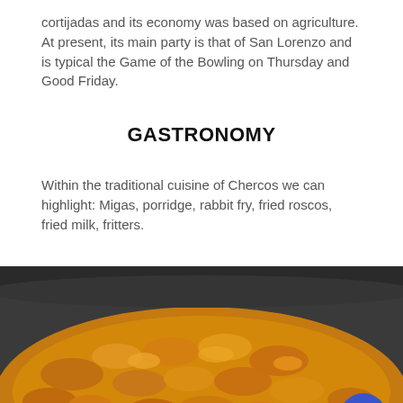cortijadas and its economy was based on agriculture. At present, its main party is that of San Lorenzo and is typical the Game of the Bowling on Thursday and Good Friday.
GASTRONOMY
Within the traditional cuisine of Chercos we can highlight: Migas, porridge, rabbit fry, fried roscos, fried milk, fritters.
[Figure (photo): Close-up photo of Migas, a traditional Spanish dish made of fried breadcrumbs, golden-orange in color, in a dark pan with a contact/email button overlay in the bottom right.]